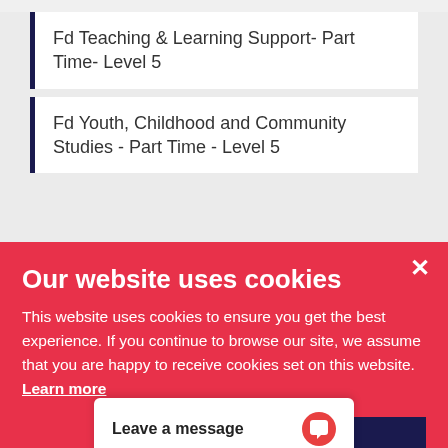Fd Teaching & Learning Support- Part Time- Level 5
Fd Youth, Childhood and Community Studies - Part Time - Level 5
Higher National Certificate in Computing (Networking) – Web Developer – Level 4
Higher National Certificate in Computing (Software Developer) – Level 4
Higher National Certificate in ... Media Production...
Our website uses cookies
This website uses cookies to ensure you get the best experience. If you continue to browse our site, we assume that you are happy to receive cookies set on this website. Learn more
Okay, Got It
Leave a message